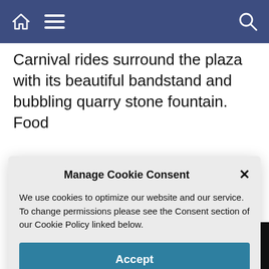Navigation bar with home, menu, and search icons
Carnival rides surround the plaza with its beautiful bandstand and bubbling quarry stone fountain. Food
Manage Cookie Consent
We use cookies to optimize our website and our service. To change permissions please see the Consent section of our Cookie Policy linked below.
Accept
bulls and charros show off their horsemanship skills in the Cayetano Rodriguez Plaza de Toros.
[Figure (screenshot): Walgreens advertisement banner: Summer's Here. Shop Sun Care - Walgreens Photo]